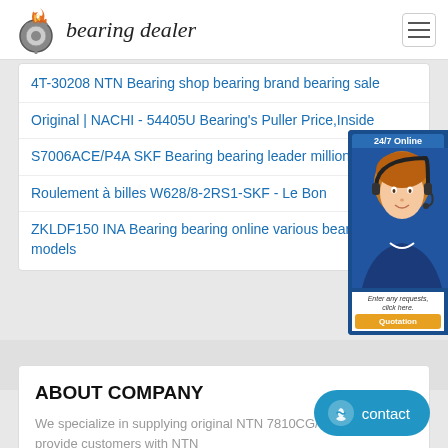bearing dealer
4T-30208 NTN Bearing shop bearing brand bearing sale
Original | NACHI - 54405U Bearing's Puller Price,Inside
S7006ACE/P4A SKF Bearing bearing leader millions bearing
Roulement à billes W628/8-2RS1-SKF - Le Bon
ZKLDF150 INA Bearing bearing online various bearing models
ABOUT COMPANY
We specialize in supplying original NTN 7810CG/GNP42 and provide customers with NTN